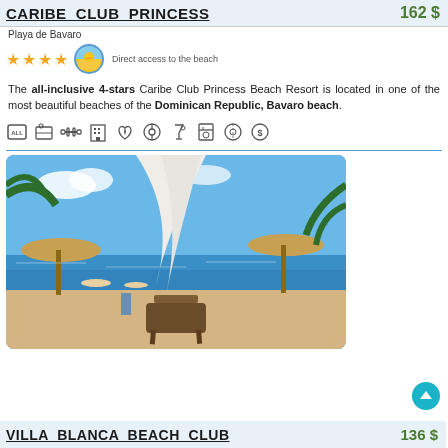CARIBE CLUB PRINCESS   162 $
Playa de Bavaro
★★★★  Direct access to the beach
The all-inclusive 4-stars Caribe Club Princess Beach Resort is located in one of the most beautiful beaches of the Dominican Republic, Bavaro beach.
[Figure (photo): Beach resort photo showing lounge chair under a white canopy with thatched umbrellas and blue sea in background]
VILLA BLANCA BEACH CLUB   136 $